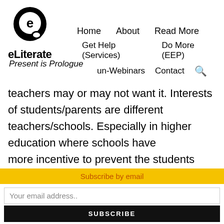[Figure (logo): eLiterate logo: circular head silhouette with letter 'e' inside, next to bold text 'eLiterate']
Home   About   Read More   Get Help (Services)   Do More (EEP)   un-Webinars   Contact
Present is Prologue
teachers may or may not want it. Interests of students/parents are different teachers/schools. Especially in higher education where schools have more incentive to prevent the students from
Subscribe by email
Your email address..
SUBSCRIBE